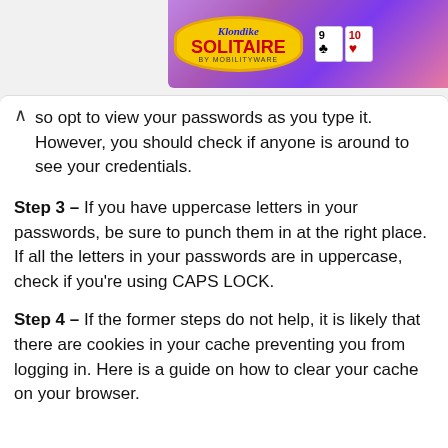[Figure (screenshot): Advertisement banner for Klondike Solitaire by MobilityWare showing stylized Vegas sign logo, playing cards (9 of clubs, 10 of hearts), purple/pink gradient background with palm trees]
so opt to view your passwords as you type it. However, you should check if anyone is around to see your credentials.
Step 3 – If you have uppercase letters in your passwords, be sure to punch them in at the right place. If all the letters in your passwords are in uppercase, check if you're using CAPS LOCK.
Step 4 – If the former steps do not help, it is likely that there are cookies in your cache preventing you from logging in. Here is a guide on how to clear your cache on your browser.